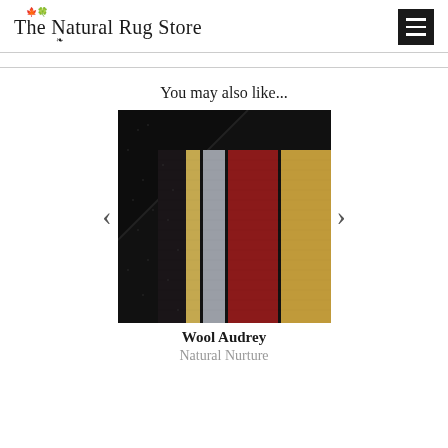The Natural Rug Store
You may also like...
[Figure (photo): Close-up of a wool rug with black border and vertical stripes of tan, grey, dark red/burgundy, and gold/khaki colors — the Wool Audrey rug by Natural Nurture]
Wool Audrey
Natural Nurture